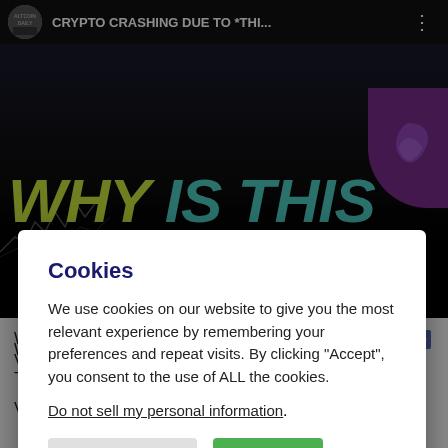[Figure (screenshot): YouTube video thumbnail screenshot showing 'CRYPTO CRASHING DUE TO *THI...' title by Altcoin Daily channel, with large text 'WHY IS THIS' in yellow-green and teal colors on dark background]
Cookies
We use cookies on our website to give you the most relevant experience by remembering your preferences and repeat visits. By clicking “Accept”, you consent to the use of ALL the cookies.
Do not sell my personal information.
Cookie Settings    Accept
Why is Bitcoin & Crypto Dropping??? [WATCH THE WH... VIDEO] 🚨 🚨 🚨